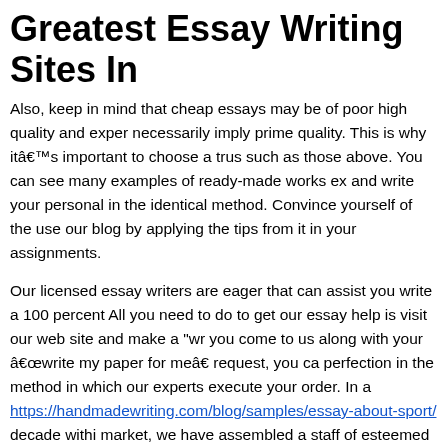Greatest Essay Writing Sites In
Also, keep in mind that cheap essays may be of poor high quality and expen necessarily imply prime quality. This is why itâs important to choose a trus such as those above. You can see many examples of ready-made works ex and write your personal in the identical method. Convince yourself of the use our blog by applying the tips from it in your assignments.
Our licensed essay writers are eager that can assist you write a 100 percent All you need to do to get our essay help is visit our web site and make a "wr you come to us along with your âwrite my paper for meâ request, you ca perfection in the method in which our experts execute your order. In a https://handmadewriting.com/blog/samples/essay-about-sport/ decade withi market, we have assembled a staff of esteemed professionals capable of wr disciplines. Expert writers work with any topic at any degree, utilizing solely valid sources.
No matter what sort of paper is required or what topic is required, our team o top-quality results and meet your deadlines. Once you could have employed my essays for me and submitted all of your documents and directions, your will work to the due date you set. When your specialist has completed togeth you'll receive an email notification, and the paper will be despatched to the " dashboard.
No matter which service you select, weâll get it done within 1, 2, 3 - four o